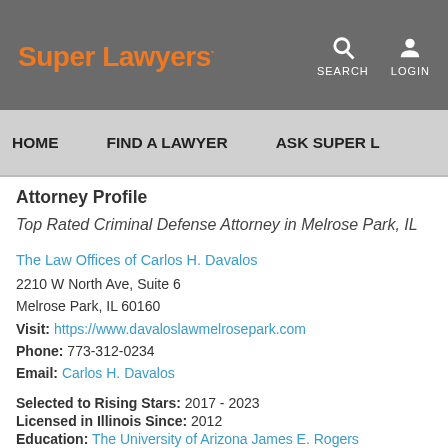Super Lawyers — SEARCH LOGIN
HOME   FIND A LAWYER   ASK SUPER L
Attorney Profile
Top Rated Criminal Defense Attorney in Melrose Park, IL
The Law Offices of Carlos H. Davalos
2210 W North Ave, Suite 6
Melrose Park, IL 60160
Visit: https://www.davaloslawmelrosepark.com
Phone: 773-312-0234
Email: Carlos H. Davalos
Selected to Rising Stars: 2017 - 2023
Licensed in Illinois Since: 2012
Education: The University of Arizona James E. Rogers